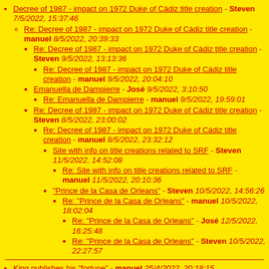Decree of 1987 - impact on 1972 Duke of Cádiz title creation - Steven 7/5/2022, 15:37:46
Re: Decree of 1987 - impact on 1972 Duke of Cádiz title creation - manuel 8/5/2022, 20:39:33
Re: Decree of 1987 - impact on 1972 Duke of Cádiz title creation - Steven 9/5/2022, 13:13:36
Re: Decree of 1987 - impact on 1972 Duke of Cádiz title creation - manuel 9/5/2022, 20:04:10
Emanuella de Dampierre - José 9/5/2022, 3:10:50
Re: Emanuella de Dampierre - manuel 9/5/2022, 19:59:01
Re: Decree of 1987 - impact on 1972 Duke of Cádiz title creation - Steven 8/5/2022, 23:00:02
Re: Decree of 1987 - impact on 1972 Duke of Cádiz title creation - manuel 8/5/2022, 23:32:12
Site with info on title creations related to SRF - Steven 11/5/2022, 14:52:08
Re: Site with info on title creations related to SRF - manuel 11/5/2022, 20:10:36
"Prince de la Casa de Orleans" - Steven 10/5/2022, 14:56:26
Re: "Prince de la Casa de Orleans" - manuel 10/5/2022, 18:02:04
Re: "Prince de la Casa de Orleans" - José 12/5/2022, 16:25:48
Re: "Prince de la Casa de Orleans" - Steven 10/5/2022, 22:27:57
King publishes his "fortune" - manuel 25/4/2022, 20:18:15
The poor, poor king - José 26/4/2022, 2:02:17